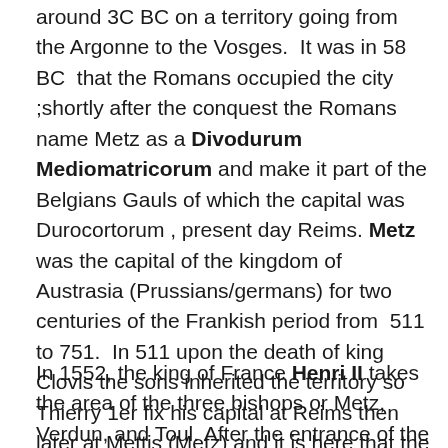around 3C BC on a territory going from the Argonne to the Vosges. It was in 58 BC that the Romans occupied the city ;shortly after the conquest the Romans name Metz as a Divodurum Mediomatricorum and make it part of the Belgians Gauls of which the capital was Durocortorum , present day Reims. Metz was the capital of the kingdom of Austrasia (Prussians/germans) for two centuries of the Frankish period from 511 to 751. In 511 upon the death of king Clovis the sons inherited the territory so Thierry 1er fix his capital at Reims then later at Mettis (Metz) and it is here that the Carolinian dynasty is born started by Pepin le Brief in 751. Metz is declared a free city of the Holy Roman Empire.
In 1552, the king of France Henri II takes the area of the three bishops or Metz, Verdun, and Toul. After the entrance of the troops of Anne de Montmorency in town